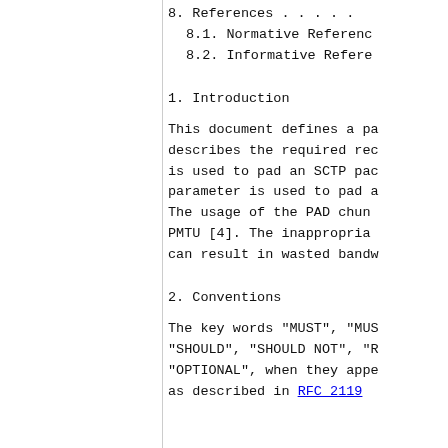8.  References . . . . .
8.1.  Normative References
8.2.  Informative References
1.  Introduction
This document defines a pa describes the required rec is used to pad an SCTP pac parameter is used to pad a The usage of the PAD chun PMTU [4].  The inappropria can result in wasted bandw
2.  Conventions
The key words "MUST", "MUS "SHOULD", "SHOULD NOT", "R "OPTIONAL", when they appe as described in RFC 2119